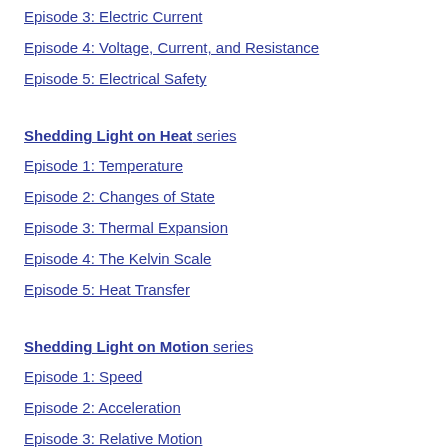Episode 3: Electric Current
Episode 4: Voltage, Current, and Resistance
Episode 5: Electrical Safety
Shedding Light on Heat series
Episode 1: Temperature
Episode 2: Changes of State
Episode 3: Thermal Expansion
Episode 4: The Kelvin Scale
Episode 5: Heat Transfer
Shedding Light on Motion series
Episode 1: Speed
Episode 2: Acceleration
Episode 3: Relative Motion
Episode 4: Graphing Motion
Episode 5: Graphing Free Fall
Episode 6: Newton's First Law
Episode 7: Newton's Second Law